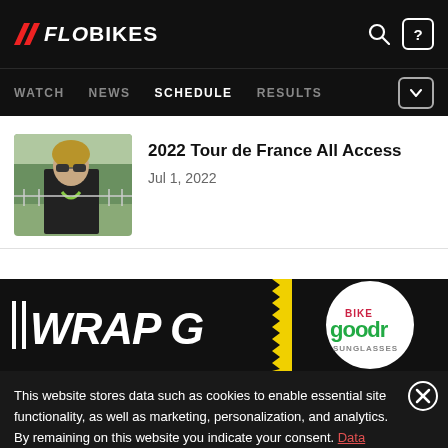FLOBIKES — WATCH | NEWS | SCHEDULE | RESULTS
2022 Tour de France All Access
Jul 1, 2022
[Figure (photo): Advertisement banner showing WRAP G and BIKE goodr sunglasses logos]
This website stores data such as cookies to enable essential site functionality, as well as marketing, personalization, and analytics. By remaining on this website you indicate your consent. Data Storage Policy